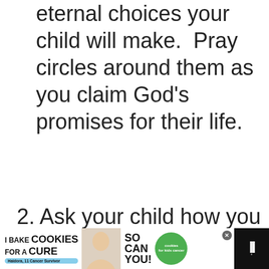eternal choices your child will make.  Pray circles around them as you claim God's promises for their life.
2. Ask your child how you can pray for them.  They know the needs they have and knowing that you are praying for those needs is a huge support and blessing.
[Figure (screenshot): Social interaction overlay with heart/like button (blue circle with heart icon), count 117, and share button]
[Figure (screenshot): What's Next panel showing link to 'Teaching Kids About Praye...' with thumbnail image]
[Figure (screenshot): Advertisement banner: 'I Bake COOKIES For A CURE' with photo of girl, 'So can you!' text and cookies for kids cancer green circle logo, with close X button]